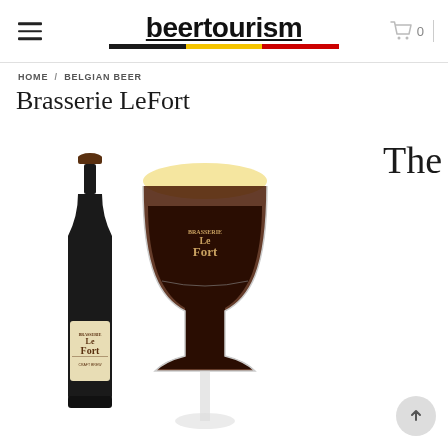beertourism
HOME / BELGIAN BEER
Brasserie LeFort
[Figure (photo): Product photo showing a dark beer bottle labeled 'Brasserie LeFort' next to a tulip glass filled with dark beer and a creamy head, both branded with the Brasserie LeFort logo]
The